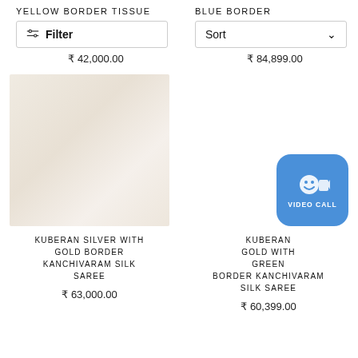YELLOW BORDER TISSUE
BLUE BORDER
Filter
Sort
₹ 42,000.00
₹ 84,899.00
[Figure (photo): Product photo of a white/cream tissue silk saree with soft folds, light background]
KUBERAN SILVER WITH GOLD BORDER KANCHIVARAM SILK SAREE
KUBERAN GOLD WITH GREEN BORDER KANCHIVARAM SILK SAREE
₹ 63,000.00
₹ 60,399.00
[Figure (other): Blue video call button with camera and smiley icon, labeled VIDEO CALL]